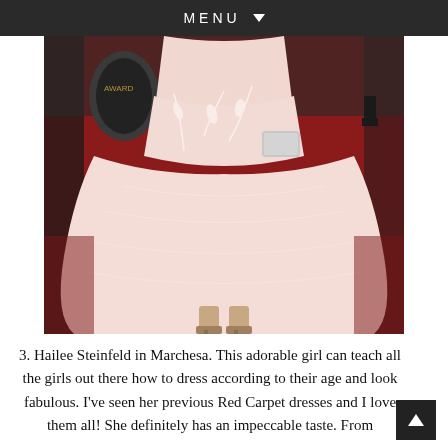MENU ▼
[Figure (photo): Person wearing a pale pink full-length tulle ballgown with floral embroidery details, standing on a red carpet. The photo shows from the waist down, revealing nude open-toe platform heels and a silver clutch purse held in hand.]
3. Hailee Steinfeld in Marchesa. This adorable girl can teach all the girls out there how to dress according to their age and look fabulous. I've seen her previous Red Carpet dresses and I love them all! She definitely has an impeccable taste. From